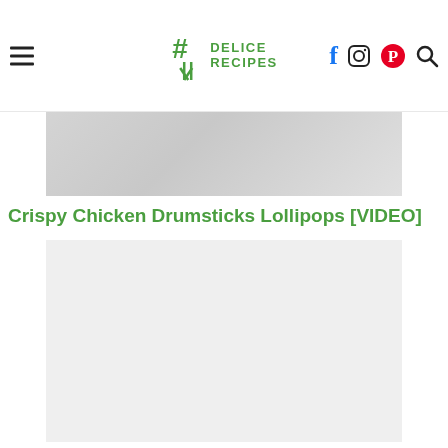# DELICE RECIPES — navigation header with hamburger menu, logo, social icons (Facebook, Instagram, Pinterest), and search icon
[Figure (photo): Top portion of a food photo showing crispy chicken drumstick lollipops on a light background]
Crispy Chicken Drumsticks Lollipops [VIDEO]
[Figure (screenshot): Embedded video player placeholder (gray rectangle)]